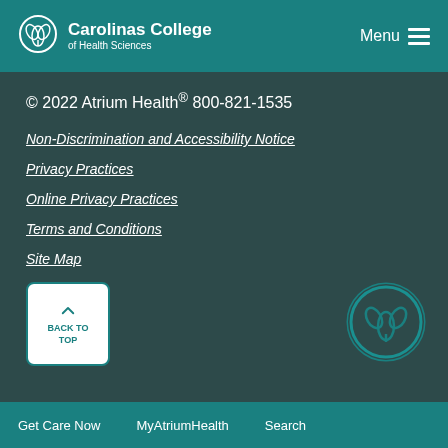Carolinas College of Health Sciences | Menu
© 2022 Atrium Health® 800-821-1535
Non-Discrimination and Accessibility Notice
Privacy Practices
Online Privacy Practices
Terms and Conditions
Site Map
[Figure (other): Back to Top button with upward chevron arrow]
[Figure (logo): Carolinas College of Health Sciences circular logo]
Get Care Now   MyAtriumHealth   Search